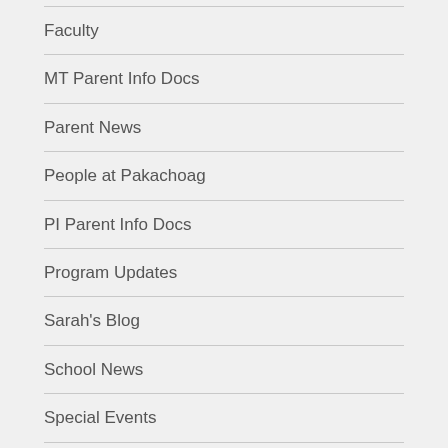Faculty
MT Parent Info Docs
Parent News
People at Pakachoag
PI Parent Info Docs
Program Updates
Sarah's Blog
School News
Special Events